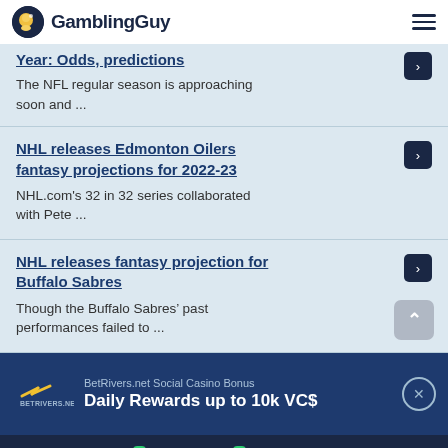GamblingGuy
Year: Odds, predictions — The NFL regular season is approaching soon and ...
NHL releases Edmonton Oilers fantasy projections for 2022-23 — NHL.com's 32 in 32 series collaborated with Pete ...
NHL releases fantasy projection for Buffalo Sabres — Though the Buffalo Sabres' past performances failed to ...
[Figure (infographic): BetRivers.net Social Casino Bonus ad banner: Daily Rewards up to 10k VC$]
Betting | Betting Offers 9 | Casino Offers 9 | News | Social Casinos